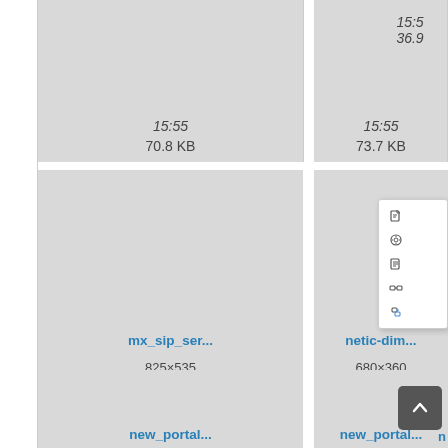[Figure (screenshot): File browser grid view showing image file cards. Top row partial cards showing time 15:55, sizes 70.8 KB, 73.7 KB, 36.9... Second row: mx_sip_ser... (825×535, 2019/07/22 15:55, 26 KB), netic-dim... (680×360, 2019/03/20 17:04, 185.7 KB), new... (partially visible with context menu). Third row: new_portal..., new_portal..., new_po... with dark thumbnail and back-to-top button.]